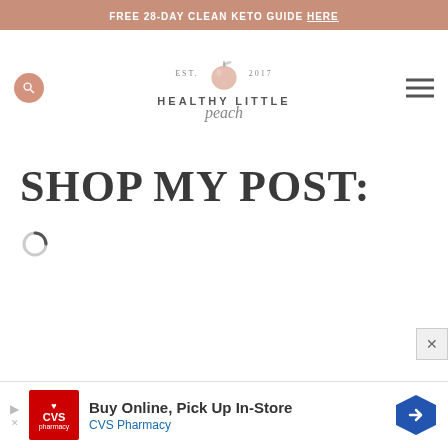FREE 28-DAY CLEAN KETO GUIDE HERE
[Figure (logo): Healthy Little Peach logo with peach illustration, EST. 2017]
SHOP MY POST:
[Figure (other): Loading spinner icon]
[Figure (other): CVS Pharmacy advertisement: Buy Online, Pick Up In-Store]